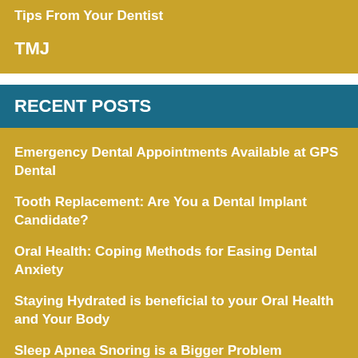Tips From Your Dentist
TMJ
RECENT POSTS
Emergency Dental Appointments Available at GPS Dental
Tooth Replacement: Are You a Dental Implant Candidate?
Oral Health: Coping Methods for Easing Dental Anxiety
Staying Hydrated is beneficial to your Oral Health and Your Body
Sleep Apnea Snoring is a Bigger Problem